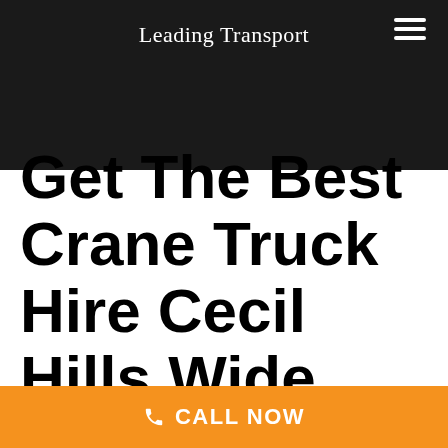Leading Transport
Get The Best Crane Truck Hire Cecil Hills Wide
CALL NOW